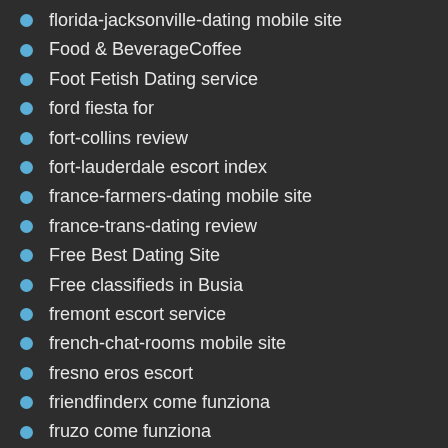florida-jacksonville-dating mobile site
Food & BeverageCoffee
Foot Fetish Dating service
ford fiesta for
fort-collins review
fort-lauderdale escort index
france-farmers-dating mobile site
france-trans-dating review
Free Best Dating Site
Free classifieds in Busia
fremont escort service
french-chat-rooms mobile site
fresno eros escort
friendfinderx come funziona
fruzo come funziona